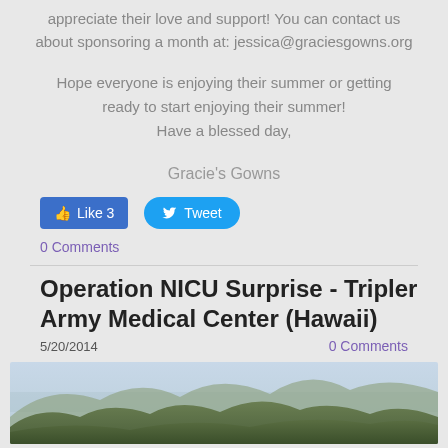appreciate their love and support! You can contact us about sponsoring a month at: jessica@graciesgowns.org
Hope everyone is enjoying their summer or getting ready to start enjoying their summer!
Have a blessed day,
Gracie's Gowns
[Figure (other): Facebook Like button showing 'Like 3' and Twitter Tweet button]
0 Comments
Operation NICU Surprise - Tripler Army Medical Center (Hawaii)
5/20/2014
0 Comments
[Figure (photo): Landscape photo showing green mountain ridgeline with misty sky]